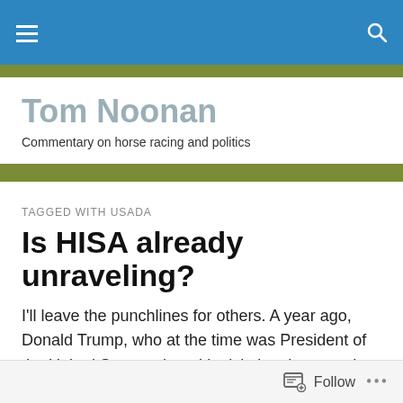Tom Noonan — Commentary on horse racing and politics
TAGGED WITH USADA
Is HISA already unraveling?
I'll leave the punchlines for others. A year ago, Donald Trump, who at the time was President of the United States, signed legislation that was the most significant step ever to reform horse racing with its numerous failings.